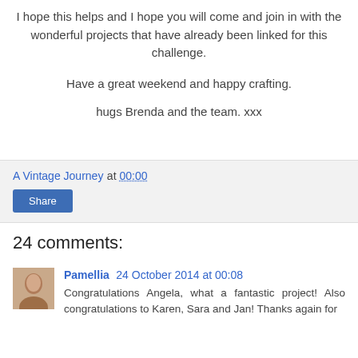I hope this helps and I hope you will come and join in with the wonderful projects that have already been linked for this challenge.
Have a great weekend and happy crafting.
hugs Brenda and the team. xxx
A Vintage Journey at 00:00
Share
24 comments:
Pamellia 24 October 2014 at 00:08
Congratulations Angela, what a fantastic project! Also congratulations to Karen, Sara and Jan! Thanks again for